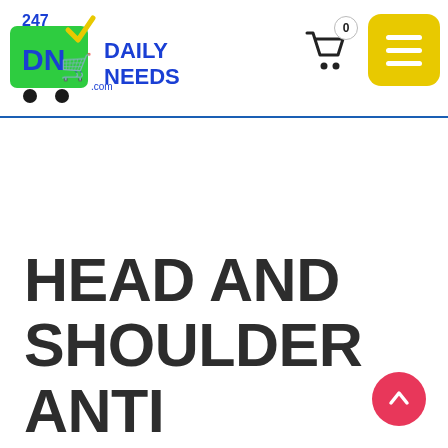247 Daily Needs - website header with logo, cart icon (0 items), and hamburger menu
HEAD AND SHOULDER ANTI DANDRUFF SHAMPOO AND HAIR RETAIN FOR MEN 240